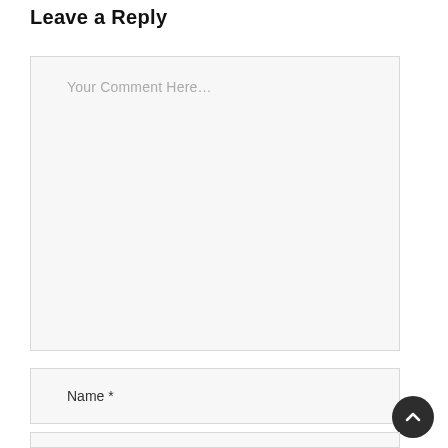Leave a Reply
[Figure (screenshot): Comment text area input box with placeholder text 'Your Comment Here...']
Name *
[Figure (screenshot): Name input field, partially visible at bottom]
[Figure (screenshot): Dark circular scroll-to-top button with upward chevron arrow]